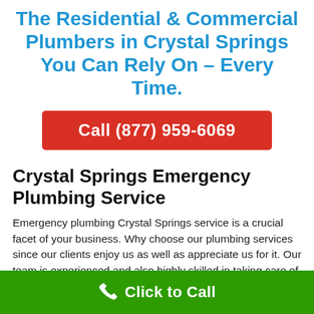The Residential & Commercial Plumbers in Crystal Springs You Can Rely On – Every Time.
Call (877) 959-6069
Crystal Springs Emergency Plumbing Service
Emergency plumbing Crystal Springs service is a crucial facet of your business. Why choose our plumbing services since our clients enjoy us as well as appreciate us for it. Our team is experienced and also highly skilled in taking care of a variety of major drain concerns.
Click to Call